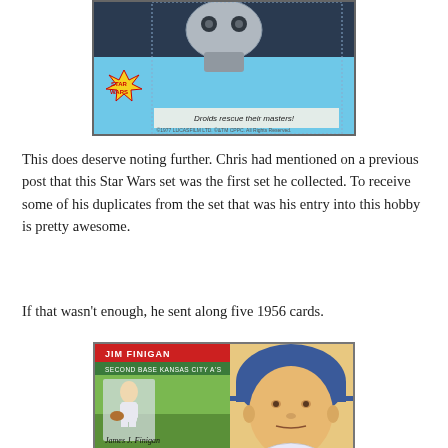[Figure (photo): Star Wars trading card showing droids with text 'Droids rescue their masters!' and Star Wars logo]
This does deserve noting further. Chris had mentioned on a previous post that this Star Wars set was the first set he collected. To receive some of his duplicates from the set that was his entry into this hobby is pretty awesome.
If that wasn't enough, he sent along five 1956 cards.
[Figure (photo): 1956 Topps baseball card of Jim Finigan, Second Base, Kansas City A's]